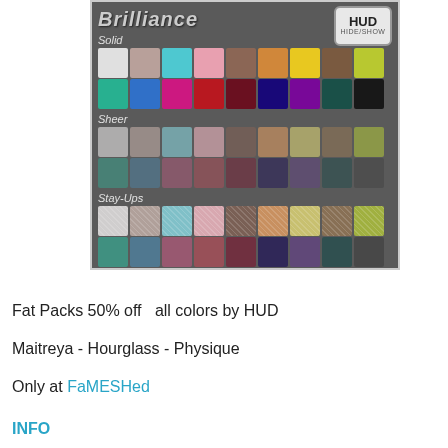[Figure (screenshot): A color HUD panel with 'Brilliance' logo and HUD HIDE/SHOW button. Contains three sections: Solid (two rows of color swatches), Sheer (two rows of muted color swatches), and Stay-Ups (two rows of color swatches). Colors include white, grey, cyan, pink, brown, orange, yellow, dark brown, lime, teal, blue, magenta, red, dark red, navy, purple, dark teal, black, and similar muted versions.]
Fat Packs 50% off  all colors by HUD
Maitreya - Hourglass - Physique
Only at FaMESHed
INFO